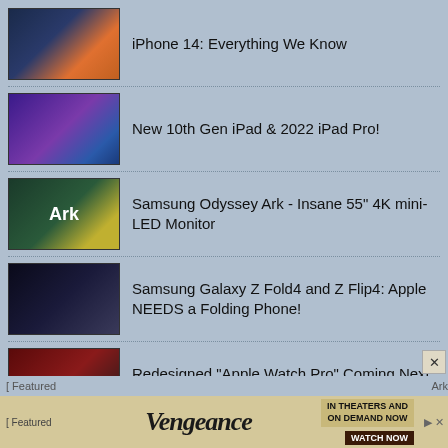iPhone 14: Everything We Know
New 10th Gen iPad & 2022 iPad Pro!
Samsung Odyssey Ark - Insane 55" 4K mini-LED Monitor
Samsung Galaxy Z Fold4 and Z Flip4: Apple NEEDS a Folding Phone!
Redesigned "Apple Watch Pro" Coming Next Month
Copyright © 2000-2022 MacRumors.com, LLC.
Privacy / DMCA contact / Affiliate and FTC Disclosure
Accessibility Statement
[ Featured ... Ark ]
[Figure (other): Vengeance movie advertisement banner - IN THEATERS AND ON DEMAND NOW WATCH NOW]